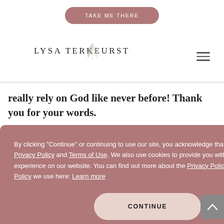[Figure (screenshot): Screenshot of Lysa TerKeurst website showing a cookie consent banner overlay on top of blog content. The page has a pink-brown 'TAKE ME THERE' button at top, the Lysa TerKeurst logo with leaf illustration, a hamburger menu icon, partially visible blog text reading 'really rely on God like never before! Thank you for your words.' and at the bottom 'I've been doing a lot of thinking'. A large pink-brown cookie consent modal overlays the center, with text about Privacy Policy and Terms of Use, and a 'CONTINUE' button. A grey scroll-to-top arrow button is visible at right.]